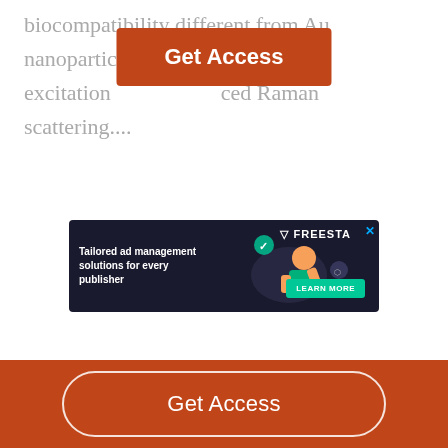biocompatibility different from Au nanoparticles and the excitation enhanced Raman scattering....
[Figure (other): Get Access button overlay (red/brown button with white text) covering middle portion of text]
[Figure (other): Advertisement banner: dark background, text 'Tailored ad management solutions for every publisher', FREESTA branding, LEARN MORE button, illustrated character]
[Figure (other): Footer bar with Get Access button, brown/red background, white rounded rectangle button]